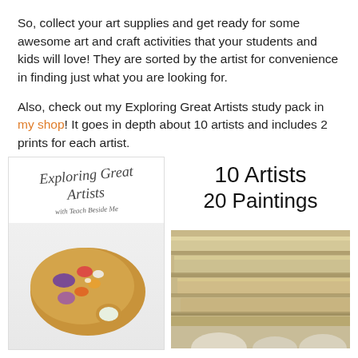So, collect your art supplies and get ready for some awesome art and craft activities that your students and kids will love! They are sorted by the artist for convenience in finding just what you are looking for.

Also, check out my Exploring Great Artists study pack in my shop! It goes in depth about 10 artists and includes 2 prints for each artist.
[Figure (illustration): Two side-by-side promotional images: Left card shows 'Exploring Great Artists with Teach Beside Me' title text in italic script with an art palette illustration below. Right card shows '10 Artists 20 Paintings' text in large light font above a photo of stacked stone/marble architectural elements.]